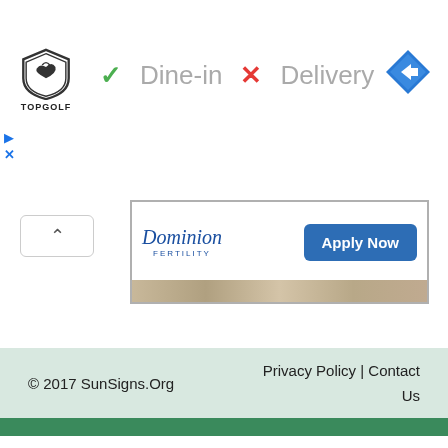[Figure (logo): Topgolf shield logo with bird and TOPGOLF text below]
✓ Dine-in  ✗ Delivery
[Figure (logo): Blue diamond direction/navigation icon in top right]
[Figure (logo): Small ad play and close icons on left side]
[Figure (other): Scroll up chevron button]
[Figure (other): Dominion Fertility advertisement banner with Apply Now button and photo strip]
© 2017 SunSigns.Org    Privacy Policy | Contact Us